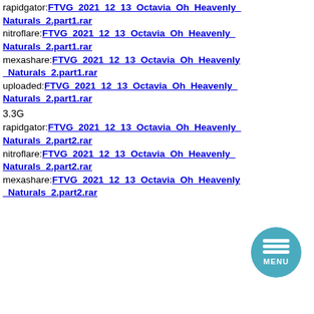[Figure (photo): Three adult content thumbnail images side by side showing a woman in various poses]
rapidgator:FTVG_2021_12_13_Octavia_Oh_Heavenly_Naturals_2.part1.rar
nitroflare:FTVG_2021_12_13_Octavia_Oh_Heavenly_Naturals_2.part1.rar
mexashare:FTVG_2021_12_13_Octavia_Oh_Heavenly_Naturals_2.part1.rar
uploaded:FTVG_2021_12_13_Octavia_Oh_Heavenly_Naturals_2.part1.rar
3.3G
rapidgator:FTVG_2021_12_13_Octavia_Oh_Heavenly_Naturals_2.part2.rar
nitroflare:FTVG_2021_12_13_Octavia_Oh_Heavenly_Naturals_2.part2.rar
mexashare:FTVG_2021_12_13_Octavia_Oh_Heavenly_Naturals_2.part2.rar